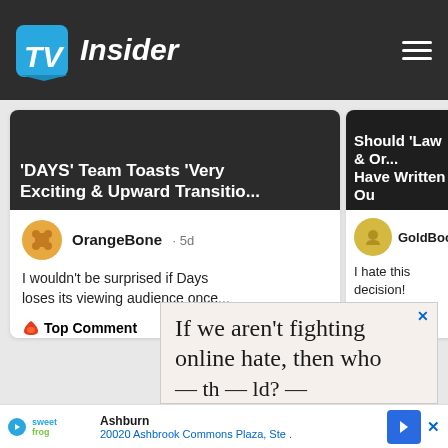TV Insider
[Figure (screenshot): TV Insider website screenshot showing article cards and comments]
'DAYS' Team Toasts 'Very Exciting & Upward Transitio...'
OrangeBone · 5d
I wouldn't be surprised if Days loses its viewing audience once...
🔥 Top Comment  👍 22
Should 'Law & Or... Have Written Ou
GoldBoomer
I hate this decision! changed and grew a
🔥 Top Comment
If we aren't fighting online hate, then who
Ashburn 20020 Ashbrook Commons Plaza, Ste .